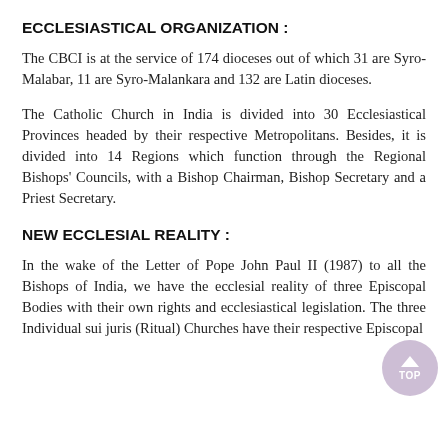ECCLESIASTICAL ORGANIZATION :
The CBCI is at the service of 174 dioceses out of which 31 are Syro-Malabar, 11 are Syro-Malankara and 132 are Latin dioceses.
The Catholic Church in India is divided into 30 Ecclesiastical Provinces headed by their respective Metropolitans. Besides, it is divided into 14 Regions which function through the Regional Bishops' Councils, with a Bishop Chairman, Bishop Secretary and a Priest Secretary.
NEW ECCLESIAL REALITY :
In the wake of the Letter of Pope John Paul II (1987) to all the Bishops of India, we have the ecclesial reality of three Episcopal Bodies with their own rights and ecclesiastical legislation. The three Individual sui juris (Ritual) Churches have their respective Episcopal